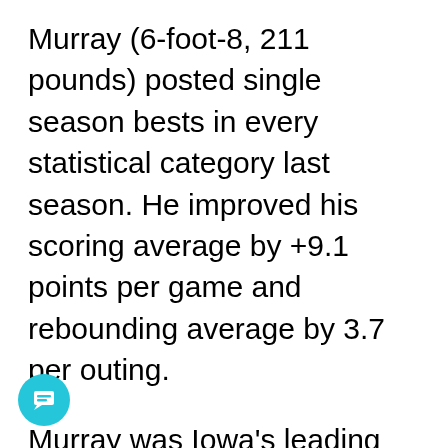Murray (6-foot-8, 211 pounds) posted single season bests in every statistical category last season. He improved his scoring average by +9.1 points per game and rebounding average by 3.7 per outing.
Murray was Iowa's leading scorer (9.7 ppg) and rebounder (4.3 rpg) off the bench, which ranked fourth and third overall, respectively. His 31 blocks and 43 3-point field goals rank